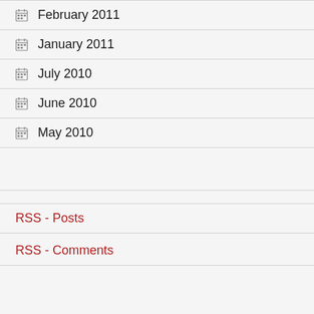February 2011
January 2011
July 2010
June 2010
May 2010
RSS - Posts
RSS - Comments